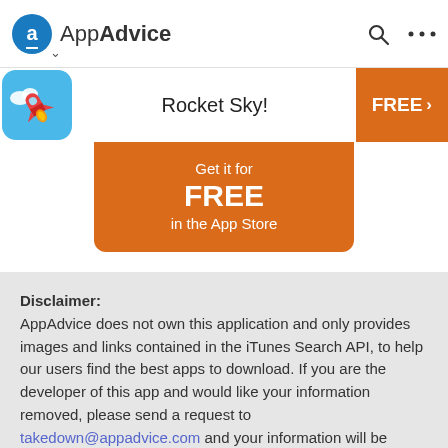AppAdvice
Rocket Sky!
Get it for FREE in the App Store
Disclaimer: AppAdvice does not own this application and only provides images and links contained in the iTunes Search API, to help our users find the best apps to download. If you are the developer of this app and would like your information removed, please send a request to takedown@appadvice.com and your information will be removed.